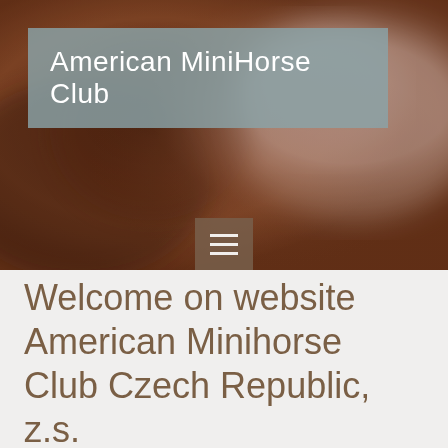[Figure (photo): Blurred close-up photo of a horse, brownish-reddish tones with soft focus, serving as hero background image]
American MiniHorse Club
[Figure (other): Hamburger menu icon (three horizontal white lines) on a brown/tan semi-transparent square button]
Welcome on website American Minihorse Club Czech Republic, z.s.